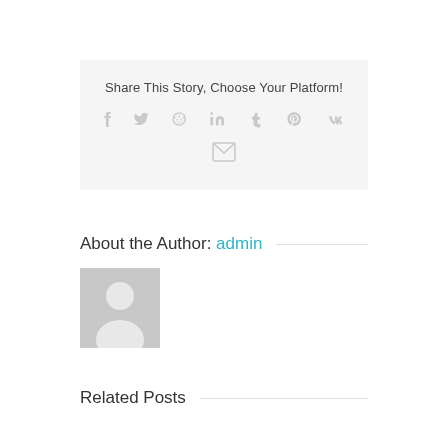Share This Story, Choose Your Platform!
[Figure (infographic): Social sharing icons: Facebook, Twitter, Reddit, LinkedIn, Tumblr, Pinterest, VK, Email]
About the Author: admin
[Figure (photo): Generic avatar/profile placeholder image showing silhouette of a person]
Related Posts